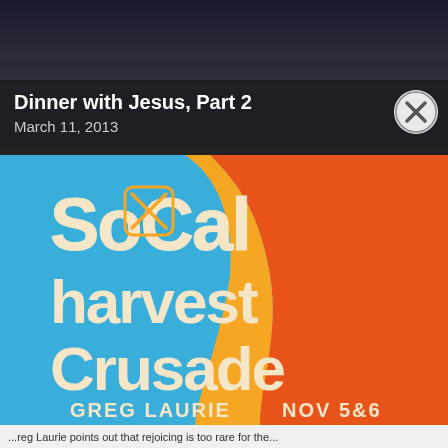[Figure (photo): Dark background photo showing a person, partially visible at top]
Dinner with Jesus, Part 2
March 11, 2013
[Figure (illustration): SoCal Harvest Crusade advertisement poster featuring bold retro-style lettering on blue and orange background. Text reads SOCAL HARVEST CRUSADE, GREG LAURIE • NOV 5&6]
...reg Laurie points out that rejoicing is too rare for the...